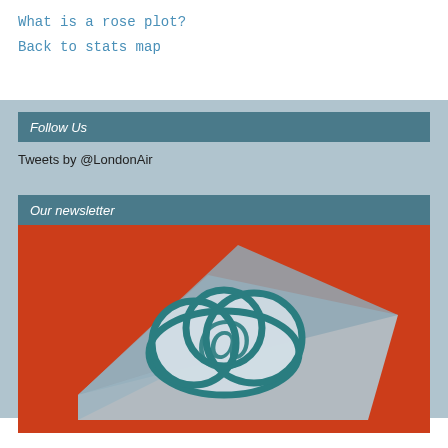What is a rose plot?
Back to stats map
Follow Us
Tweets by @LondonAir
Our newsletter
[Figure (illustration): Newsletter promotional image: red background with a light blue/grey envelope and a teal cloud with '@' symbol icon in the center]